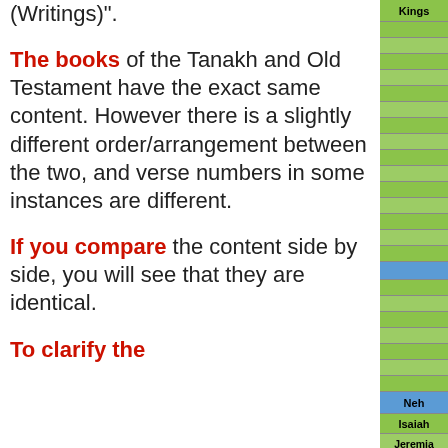(Writings)".
The books of the Tanakh and Old Testament have the exact same content. However there is a slightly different order/arrangement between the two, and verse numbers in some instances are different.
If you compare the content side by side, you will see that they are identical.
To clarify the